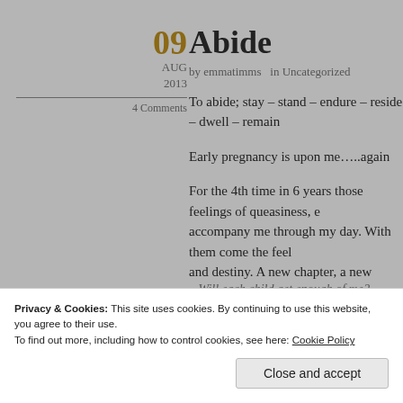Abide
09 AUG 2013
4 Comments
by emmatimms  in Uncategorized
To abide; stay – stand – endure – reside – dwell – remain
Early pregnancy is upon me…..again
For the 4th time in 6 years those feelings of queasiness, e... accompany me through my day. With them come the feel... and destiny. A new chapter, a new baby, a new dynamic i...
The summer holidays are keeping me extra busy entertain... trips to the woods, play dates with friends and rainy day a... questions;
Privacy & Cookies: This site uses cookies. By continuing to use this website, you agree to their use.
To find out more, including how to control cookies, see here: Cookie Policy
Close and accept